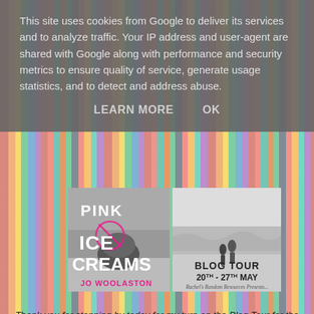This site uses cookies from Google to deliver its services and to analyze traffic. Your IP address and user-agent are shared with Google along with performance and security metrics to ensure quality of service, generate usage statistics, and to detect and address abuse.
LEARN MORE    OK
[Figure (illustration): Book cover for PINK ICE CREAMS by JO WOOLASTON - black and white beach photo with pink text overlay]
[Figure (illustration): Blog Tour banner: black and white photo of two children at beach, text BLOG TOUR 20TH - 27TH MAY, Rachel's Random Resources Presents...]
Thank you for stopping by today for my turn on the Blog Tour for the wonderful PINK ICE CREAMS by JO WOOLASTON.  My thanks to the Author and Rachel of Rachel's Random Resources for letting me be part of it all!